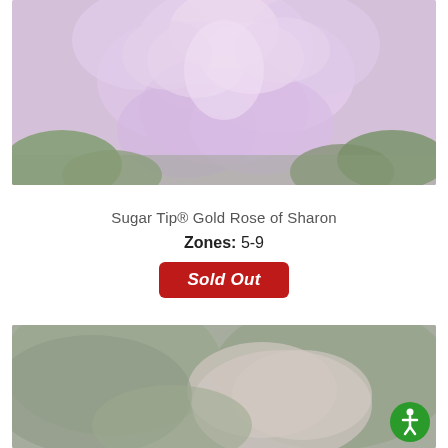[Figure (photo): Close-up photo of light pink/lavender ruffled flowers (Sugar Tip Gold Rose of Sharon), soft petals filling the frame with green leaves visible at edges]
Sugar Tip® Gold Rose of Sharon
Zones: 5-9
Sold Out
[Figure (photo): Partial close-up photo of another plant/flower, muted green and soft pink tones, lower portion of the page]